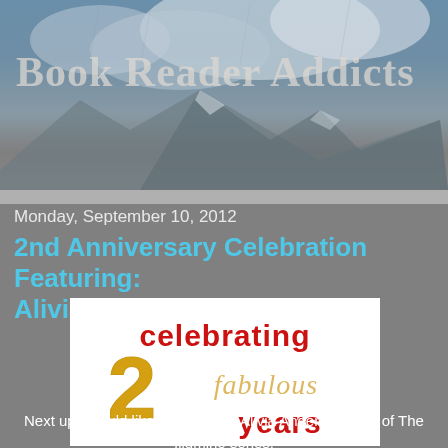[Figure (illustration): Blog header banner with snowy mountain and cloudy sky background, with 'Book Reader Addicts' text overlaid in large semi-transparent gray letters]
Monday, September 10, 2012
2nd Anniversary Celebration Featuring: Alivia Anders (giveaway)
[Figure (illustration): White rectangular image with 'celebrating 2 fabulous years' text in decorative fonts — 'celebrating' and 'years' in red, '2' in gold, 'fabulous' in cream/tan]
Next up I would like you to meet Alivia Anders, author of The Illumine series.